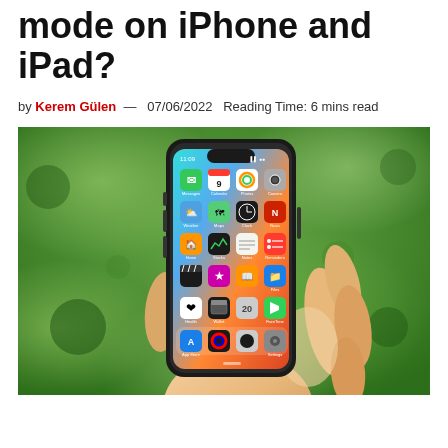mode on iPhone and iPad?
by Kerem Gülen — 07/06/2022  Reading Time: 6 mins read
[Figure (photo): A hand holding an iPhone X showing the iOS home screen with various app icons including Messages, Calendar, Photos, Camera, Weather, Maps, Clock, Nova, Home, Stocks, Notes, Reminders, a video editing app, a star app, Books, Files, Health, Wallet, an app with number 20, FaceTime, App Store, a circular colors app, a black circle app, and Settings. The background is blurred green foliage.]